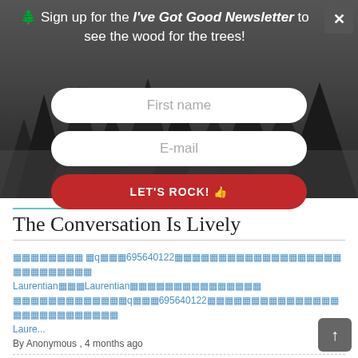[Figure (screenshot): Newsletter signup banner with dark forest background, pine tree emoji, close button, text headline, two input fields (First name, E-mail), and a red submit button (LET'S ROCK! 👍)]
The Conversation Is Lively
🔲🔲🔲🔲🔲🔲🔲🔲 🔲q🔲🔲🔲695640122🔲🔲🔲🔲🔲🔲🔲🔲🔲🔲🔲🔲🔲🔲🔲🔲🔲🔲🔲🔲🔲🔲🔲🔲🔲🔲🔲🔲🔲🔲🔲 Laurentian🔲🔲🔲Laurentian🔲🔲🔲🔲🔲🔲🔲🔲🔲🔲🔲🔲🔲🔲🔲 🔲🔲🔲🔲🔲🔲🔲🔲🔲🔲🔲🔲🔲q🔲🔲🔲695640122🔲🔲🔲🔲🔲🔲🔲🔲🔲🔲🔲🔲🔲🔲🔲🔲🔲🔲🔲🔲🔲🔲🔲🔲🔲🔲🔲🔲🔲 Laure... By Anonymous , 4 months ago
🔲🔲🔲🔲🔲🔲🔲🔲 🔲q🔲🔲🔲695640122🔲🔲🔲🔲🔲🔲🔲🔲🔲🔲🔲🔲🔲🔲🔲🔲🔲🔲🔲🔲🔲🔲🔲🔲🔲🔲🔲🔲🔲🔲🔲RU🔲🔲 RU🔲🔲🔲🔲🔲🔲🔲🔲🔲🔲🔲🔲🔲🔲🔲